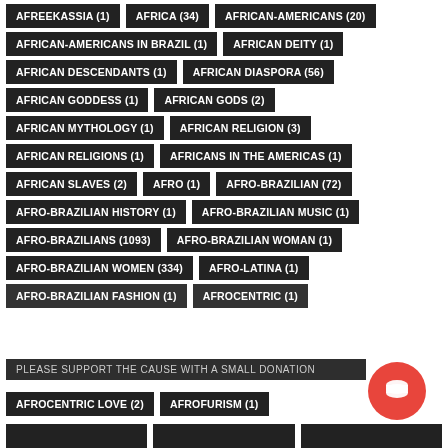AFREEKASSIA (1)
AFRICA (34)
AFRICAN-AMERICANS (20)
AFRICAN-AMERICANS IN BRAZIL (1)
AFRICAN DEITY (1)
AFRICAN DESCENDANTS (1)
AFRICAN DIASPORA (56)
AFRICAN GODDESS (1)
AFRICAN GODS (2)
AFRICAN MYTHOLOGY (1)
AFRICAN RELIGION (3)
AFRICAN RELIGIONS (1)
AFRICANS IN THE AMERICAS (1)
AFRICAN SLAVES (2)
AFRO (1)
AFRO-BRAZILIAN (72)
AFRO-BRAZILIAN HISTORY (1)
AFRO-BRAZILIAN MUSIC (1)
AFRO-BRAZILIANS (1093)
AFRO-BRAZILIAN WOMAN (1)
AFRO-BRAZILIAN WOMEN (334)
AFRO-LATINA (1)
AFRO-BRAZILIAN FASHION (1)
AFROCENTRIC (1)
AFROCENTRIC LOVE (2)
AFROFURISM (1)
PLEASE SUPPORT THE CAUSE WITH A SMALL DONATION